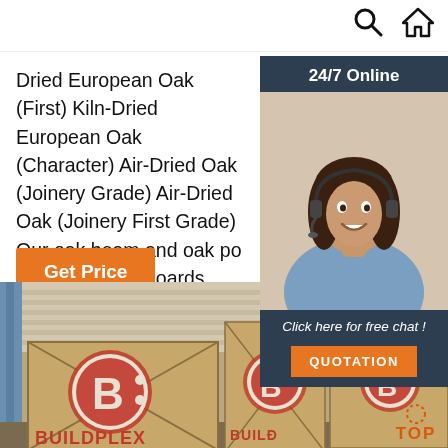Navigation bar with search and home icons
Dried European Oak (First) Kiln-Dried European Oak (Character) Air-Dried Oak (Joinery Grade) Air-Dried Oak (Joinery First Grade) Our oak beam and oak po... produce many boards from the edges of the tre...
Get Price
[Figure (infographic): 24/7 Online chat widget with photo of woman wearing headset, 'Click here for free chat!' text, and orange QUOTATION button]
[Figure (photo): Shipping container interior showing wooden crates branded BUILDPLEX, with orange BUILDPLEX logo text visible on crates. TOP navigation button overlay in bottom right.]